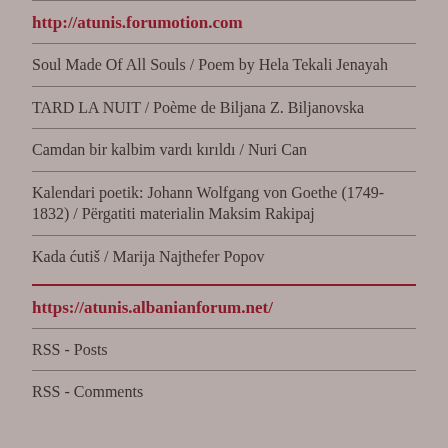http://atunis.forumotion.com
Soul Made Of All Souls / Poem by Hela Tekali Jenayah
TARD LA NUIT / Poème de Biljana Z. Biljanovska
Camdan bir kalbim vardı kırıldı / Nuri Can
Kalendari poetik: Johann Wolfgang von Goethe (1749-1832) / Përgatiti materialin Maksim Rakipaj
Kada ćutiš / Marija Najthefer Popov
https://atunis.albanianforum.net/
RSS - Posts
RSS - Comments